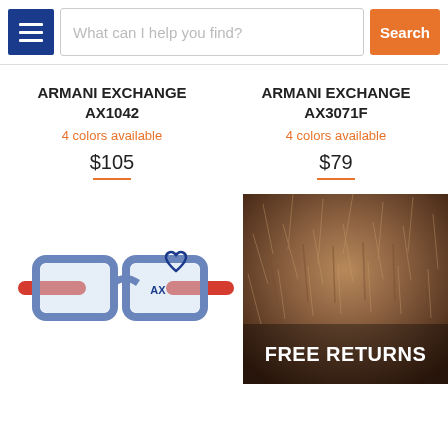[Figure (screenshot): Website header with hamburger menu button (dark blue), search input field with placeholder 'What can I help you find?', and orange Search button]
ARMANI EXCHANGE AX1042
4 colors available
$105
ARMANI EXCHANGE AX3071F
4 colors available
$79
[Figure (photo): Blue and red Armani Exchange eyeglasses (AX1042) with heart-shaped detail on temple]
[Figure (photo): Dark warm-toned photo of fur/dog with text overlay reading FREE RETURNS]